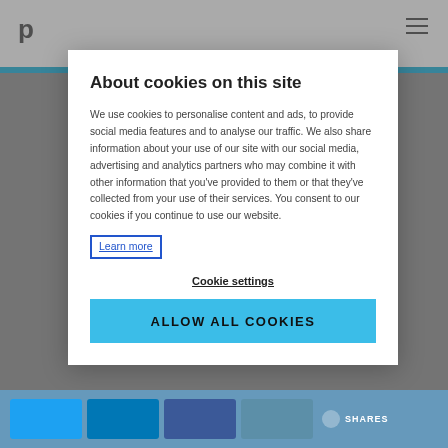[Figure (screenshot): Cookie consent modal overlay on a website. Background shows partial website header with logo and hamburger menu icon, and social share buttons at the bottom. The foreground shows a white modal dialog with cookie consent information.]
About cookies on this site
We use cookies to personalise content and ads, to provide social media features and to analyse our traffic. We also share information about your use of our site with our social media, advertising and analytics partners who may combine it with other information that you've provided to them or that they've collected from your use of their services. You consent to our cookies if you continue to use our website.
Learn more
Cookie settings
ALLOW ALL COOKIES